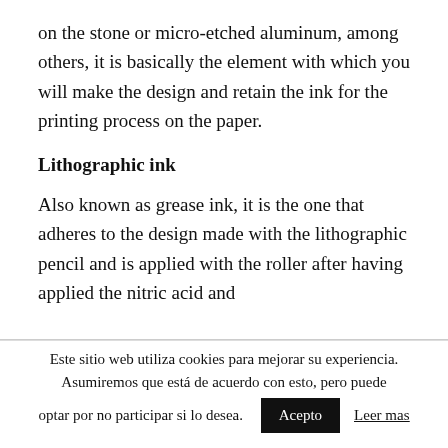on the stone or micro-etched aluminum, among others, it is basically the element with which you will make the design and retain the ink for the printing process on the paper.
Lithographic ink
Also known as grease ink, it is the one that adheres to the design made with the lithographic pencil and is applied with the roller after having applied the nitric acid and
Este sitio web utiliza cookies para mejorar su experiencia. Asumiremos que está de acuerdo con esto, pero puede optar por no participar si lo desea.
Acepto
Leer mas